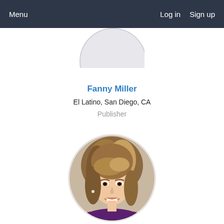Menu  Log in  Sign up
[Figure (photo): Partially cropped circular profile photo placeholder for Fanny Miller, showing a grey circle, cut off at the top of the page]
Fanny Miller
El Latino, San Diego, CA
Publisher
[Figure (photo): Circular profile photo of Andrea Minski, a woman with shoulder-length highlighted brown hair, smiling, wearing a dark purple top]
Andrea Minski